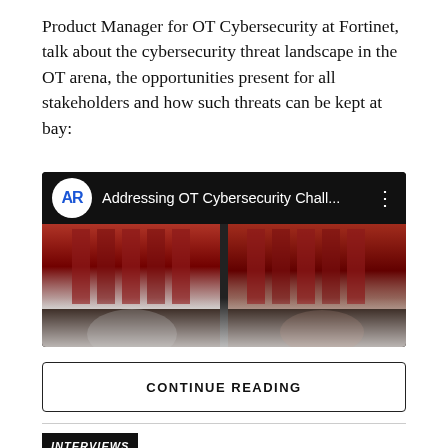Product Manager for OT Cybersecurity at Fortinet, talk about the cybersecurity threat landscape in the OT arena, the opportunities present for all stakeholders and how such threats can be kept at bay:
[Figure (screenshot): YouTube-style video thumbnail for 'Addressing OT Cybersecurity Chall...' with AR logo and dark background with red-toned server room imagery]
CONTINUE READING
INTERVIEWS
Zero Trust is What Security Should